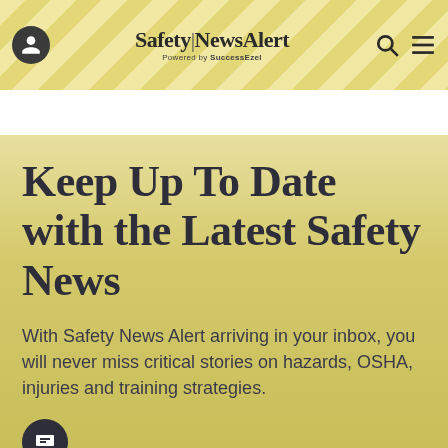Safety|NewsAlert - Powered by SuccessEzel
Keep Up To Date with the Latest Safety News
With Safety News Alert arriving in your inbox, you will never miss critical stories on hazards, OSHA, injuries and training strategies.
Sign up for a free Safety News Alert